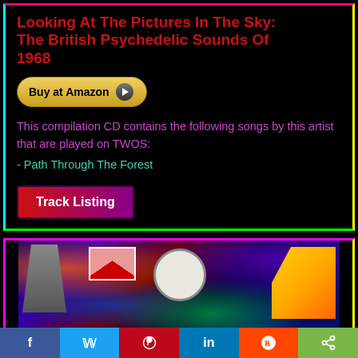Looking At The Pictures In The Sky: The British Psychedelic Sounds Of 1968
[Figure (other): Buy at Amazon button with play icon]
This compilation CD contains the following songs by this artist that are played on TWOS:
- Path Through The Forest
[Figure (other): Track Listing button]
[Figure (photo): Album cover art for Looking At The Pictures In The Sky: The British Psychedelic Sounds Of 1968, showing psychedelic imagery with Union Jack flag, clock, colorful shapes, and person silhouette]
[Figure (other): Social media sharing bar with Facebook, Twitter, Pinterest, LinkedIn, Reddit, and share buttons]